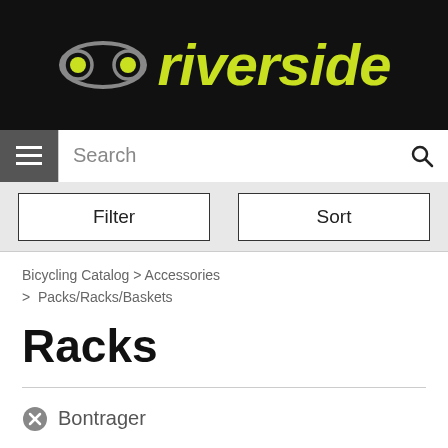[Figure (logo): Riverside bicycle shop logo with chain link icon and yellow-green italic text on black background]
Search
Filter | Sort
Bicycling Catalog > Accessories > Packs/Racks/Baskets
Racks
Bontrager